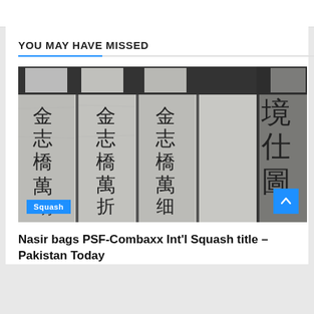YOU MAY HAVE MISSED
[Figure (photo): Close-up photo of Japanese wooden votive plaques (ema) with black ink calligraphy characters written on them, arranged in rows. Background is grey wood grain.]
Squash
Nasir bags PSF-Combaxx Int'l Squash title – Pakistan Today